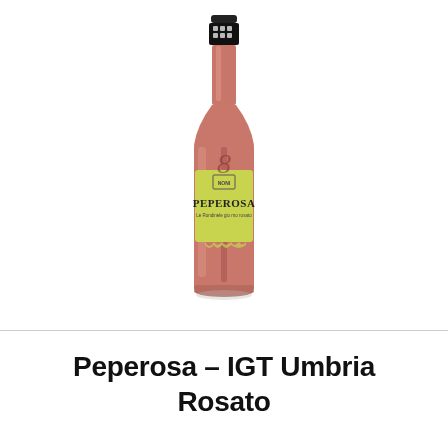[Figure (photo): A bottle of Peperosa IGT Umbria Rosato wine. The bottle has a black cap top with a decorative pattern, contains a rosé/salmon colored wine, and features a yellow-green label with the text 'PEPEROSA' and a small logo at the top of the label.]
Peperosa – IGT Umbria Rosato